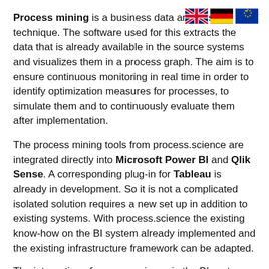[Figure (illustration): Three flags in top-right corner: UK flag (Union Jack), German flag (black-red-gold), EU flag (blue with yellow stars)]
Process mining is a business data analysis technique. The software used for this extracts the data that is already available in the source systems and visualizes them in a process graph. The aim is to ensure continuous monitoring in real time in order to identify optimization measures for processes, to simulate them and to continuously evaluate them after implementation.
The process mining tools from process.science are integrated directly into Microsoft Power BI and Qlik Sense. A corresponding plug-in for Tableau is already in development. So it is not a complicated isolated solution requires a new set up in addition to existing systems. With process.science the existing know-how on the BI system already implemented and the existing infrastructure framework can be adapted.
The integration of process.science in the BI systems has no influence on day-to-day business and bears absolutely no risk of system failures, as process.science does not intervene in the the source system or any other program but extends the respective business intelligence tool by the process perspective including various functionalities.